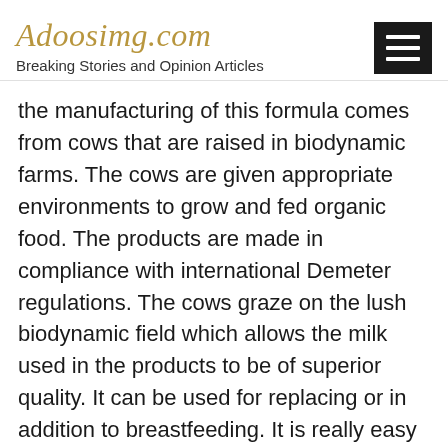Adoosimg.com
Breaking Stories and Opinion Articles
the manufacturing of this formula comes from cows that are raised in biodynamic farms. The cows are given appropriate environments to grow and fed organic food. The products are made in compliance with international Demeter regulations. The cows graze on the lush biodynamic field which allows the milk used in the products to be of superior quality. It can be used for replacing or in addition to breastfeeding. It is really easy to make and ready within minutes for the baby to consume. All a person needs to do is to add it in boiled water and shake it well to prepare it.
The products are also available in goat milk